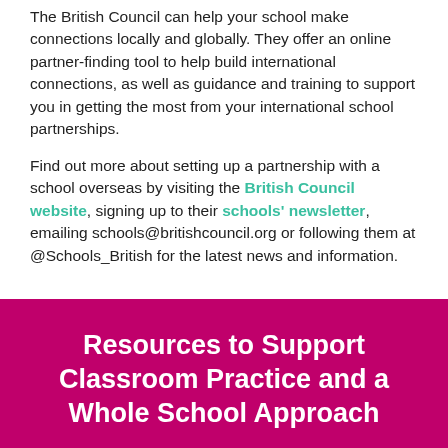The British Council can help your school make connections locally and globally. They offer an online partner-finding tool to help build international connections, as well as guidance and training to support you in getting the most from your international school partnerships.
Find out more about setting up a partnership with a school overseas by visiting the British Council website, signing up to their schools' newsletter, emailing schools@britishcouncil.org or following them at @Schools_British for the latest news and information.
Resources to Support Classroom Practice and a Whole School Approach
Find Out More